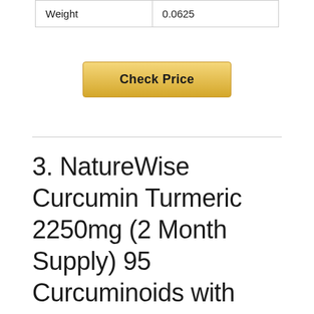| Weight | 0.0625 |
Check Price
3. NatureWise Curcumin Turmeric 2250mg (2 Month Supply) 95 Curcuminoids with BioPerine Black Pepper Extract Advanced Absorption for Cardiovascular Health